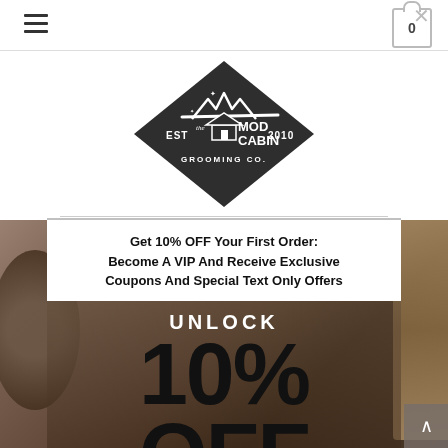[Figure (logo): The Mod Cabin Grooming Co. diamond-shaped logo with mountain/roof silhouette, EST 2010]
Get 10% OFF Your First Order: Become A VIP And Receive Exclusive Coupons And Special Text Only Offers
UNLOCK
10% OFF
YOUR FIRST ORDER